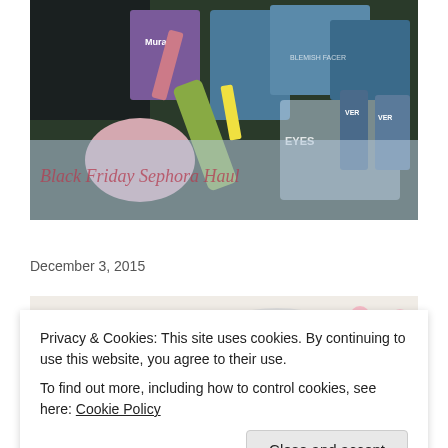[Figure (photo): Overhead flat lay photo of various beauty and skincare products including Murad, VERB, and other brand items scattered on a surface, with a semi-transparent blue overlay at the bottom showing cursive watermark text]
Black Friday Sephora Haul 2015
December 3, 2015
[Figure (photo): Partial image of a beauty blog post with cursive script text reading 'My Favorite Sleeping Mask' with pink flowers visible on a marble background]
Privacy & Cookies: This site uses cookies. By continuing to use this website, you agree to their use.
To find out more, including how to control cookies, see here: Cookie Policy
[Figure (photo): Partial bottom image strip showing blue/teal toned beauty product photography]